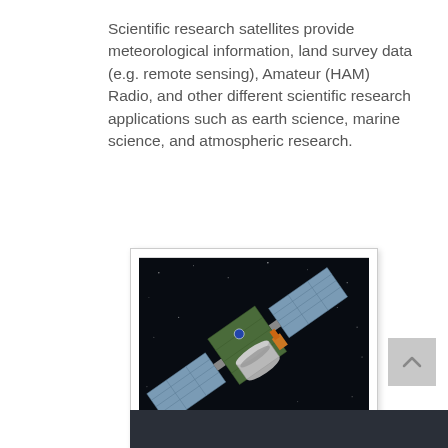Scientific research satellites provide meteorological information, land survey data (e.g. remote sensing), Amateur (HAM) Radio, and other different scientific research applications such as earth science, marine science, and atmospheric research.
[Figure (photo): A scientific research satellite in space with solar panels extended, shown against a dark starry background. The satellite has a green/olive main body with cylindrical components and large blue solar panel arrays.]